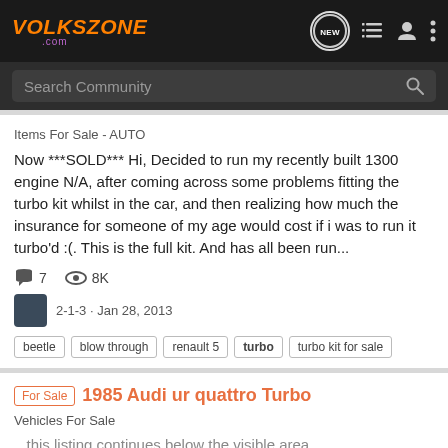[Figure (screenshot): Volkszone.com website header navigation bar with orange logo, NEW button, list icon, user icon, and more options icon]
Search Community
Items For Sale - AUTO
Now ***SOLD*** Hi, Decided to run my recently built 1300 engine N/A, after coming across some problems fitting the turbo kit whilst in the car, and then realizing how much the insurance for someone of my age would cost if i was to run it turbo'd :(. This is the full kit. And has all been run...
7    8K
2-1-3 · Jan 28, 2013
beetle
blow through
renault 5
turbo
turbo kit for sale
For Sale  1985 Audi ur quattro Turbo
Vehicles For Sale
...